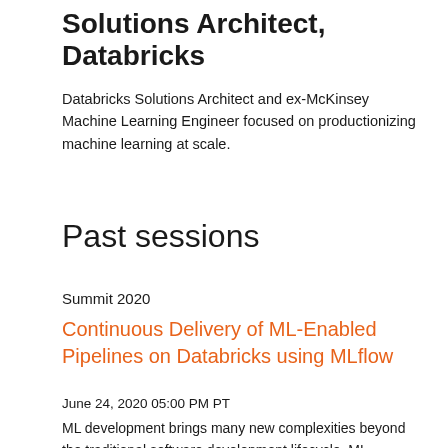Solutions Architect, Databricks
Databricks Solutions Architect and ex-McKinsey Machine Learning Engineer focused on productionizing machine learning at scale.
Past sessions
Summit 2020
Continuous Delivery of ML-Enabled Pipelines on Databricks using MLflow
June 24, 2020 05:00 PM PT
ML development brings many new complexities beyond the traditional software development lifecycle. ML projects,